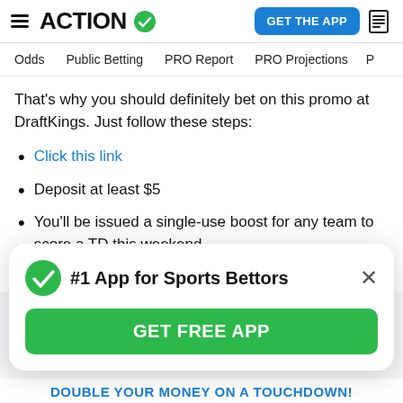ACTION #1 App for Sports Bettors | GET THE APP
Odds | Public Betting | PRO Report | PRO Projections
That's why you should definitely bet on this promo at DraftKings. Just follow these steps:
Click this link
Deposit at least $5
You'll be issued a single-use boost for any team to score a TD this weekend
Since it's a near-lock that there will indeed be a t...
[Figure (screenshot): Popup modal: '#1 App for Sports Bettors' with green checkmark icon, X close button, and green 'GET FREE APP' button]
DOUBLE YOUR MONEY ON A TOUCHDOWN!